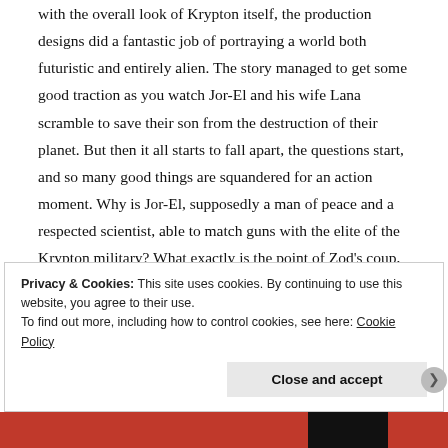with the overall look of Krypton itself, the production designs did a fantastic job of portraying a world both futuristic and entirely alien. The story managed to get some good traction as you watch Jor-El and his wife Lana scramble to save their son from the destruction of their planet. But then it all starts to fall apart, the questions start, and so many good things are squandered for an action moment. Why is Jor-El, supposedly a man of peace and a respected scientist, able to match guns with the elite of the Krypton military? What exactly is the point of Zod's coup, when the planet is doomed in just weeks? And why send Zod to the Phantom Zone and spare him from the destruction of the planet?
Privacy & Cookies: This site uses cookies. By continuing to use this website, you agree to their use.
To find out more, including how to control cookies, see here: Cookie Policy
Close and accept